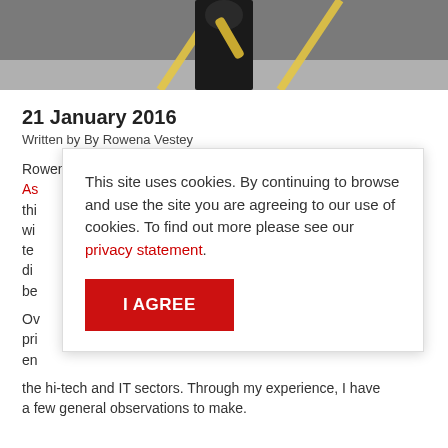[Figure (photo): Partial photo of a person in black clothing on an asphalt surface with yellow lines, holding a cylindrical object]
21 January 2016
Written by By Rowena Vestey
Rowena Vestey is one of Design Council's Design As... thi... wi... te... di... be...
This site uses cookies. By continuing to browse and use the site you are agreeing to our use of cookies. To find out more please see our privacy statement.
I AGREE
Ov... pri... en... the hi-tech and IT sectors. Through my experience, I have a few general observations to make.